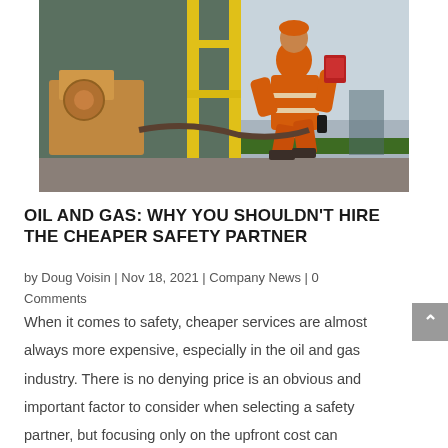[Figure (photo): A worker in an orange high-visibility coverall crouching on an industrial platform, holding a red clipboard or tablet. Yellow scaffolding poles and industrial machinery are visible in the background, with a grey sky and green safety railing.]
OIL AND GAS: WHY YOU SHOULDN'T HIRE THE CHEAPER SAFETY PARTNER
by Doug Voisin | Nov 18, 2021 | Company News | 0 Comments
When it comes to safety, cheaper services are almost always more expensive, especially in the oil and gas industry. There is no denying price is an obvious and important factor to consider when selecting a safety partner, but focusing only on the upfront cost can...